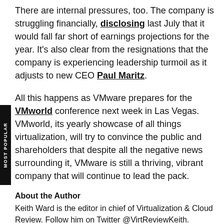There are internal pressures, too. The company is struggling financially, disclosing last July that it would fall far short of earnings projections for the year. It's also clear from the resignations that the company is experiencing leadership turmoil as it adjusts to new CEO Paul Maritz.
All this happens as VMware prepares for the VMworld conference next week in Las Vegas. VMworld, its yearly showcase of all things virtualization, will try to convince the public and shareholders that despite all the negative news surrounding it, VMware is still a thriving, vibrant company that will continue to lead the pack.
About the Author
Keith Ward is the editor in chief of Virtualization & Cloud Review. Follow him on Twitter @VirtReviewKeith.